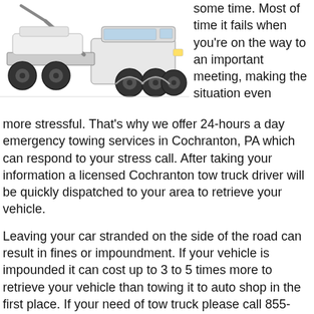[Figure (photo): A white tow truck with flatbed, viewed from a three-quarter front angle on a white background.]
some time. Most of time it fails when you’re on the way to an important meeting, making the situation even more stressful. That’s why we offer 24-hours a day emergency towing services in Cochranton, PA which can respond to your stress call. After taking your information a licensed Cochranton tow truck driver will be quickly dispatched to your area to retrieve your vehicle.
Leaving your car stranded on the side of the road can result in fines or impoundment. If your vehicle is impounded it can cost up to 3 to 5 times more to retrieve your vehicle than towing it to auto shop in the first place. If your need of tow truck please call 855-215-4957.
General Towing Services
So you’re finally looking to move that old car out of your yard, or maybe you sold a vehicle that does not run and need it towed to its new owner. No matter the circumstances, we can help.